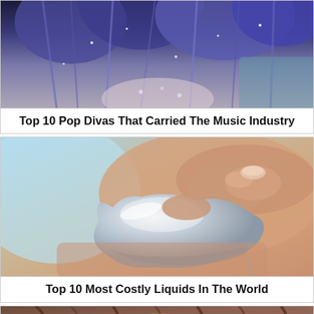[Figure (photo): Close-up of a performer with blue/purple feathered costume and sparkly outfit, cropped to show hair and costume details]
Top 10 Pop Divas That Carried The Music Industry
[Figure (photo): Close-up of a hand holding a shiny liquid mercury-like metallic drop/blob against a light blue background]
Top 10 Most Costly Liquids In The World
[Figure (photo): Partial view of a person with brown curly hair, cropped at bottom of page]